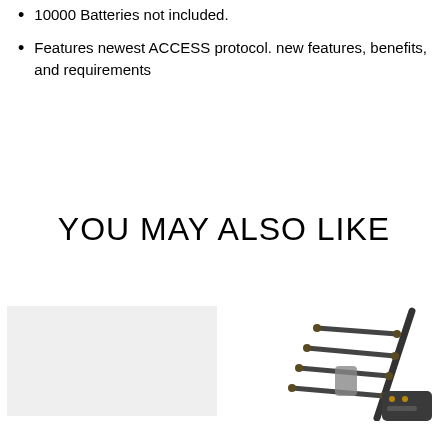10000 Batteries not included.
Features newest ACCESS protocol. new features, benefits, and requirements
YOU MAY ALSO LIKE
[Figure (photo): Light gray/white blank placeholder image on left]
[Figure (photo): Photo of a Yagi-style antenna/radio device on the right]